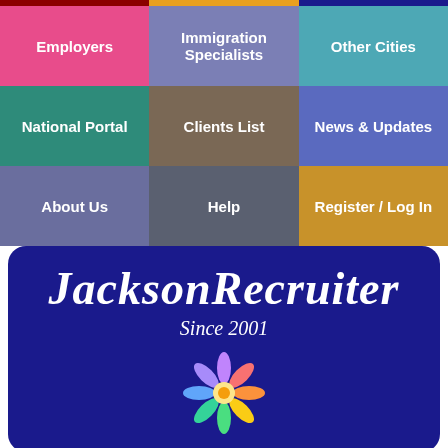[Figure (screenshot): Navigation grid with 9 colored menu buttons: Employers (pink), Immigration Specialists (slate), Other Cities (teal), National Portal (green), Clients List (brown), News & Updates (blue), About Us (purple), Help (dark slate), Register / Log In (gold)]
[Figure (logo): JacksonRecruiter logo on dark blue rounded banner with 'Since 2001' subtitle and colorful flower/people icon]
the smart solution for Jackson jobs
[Figure (other): Google Translate widget: 'Select Language' with dropdown arrow]